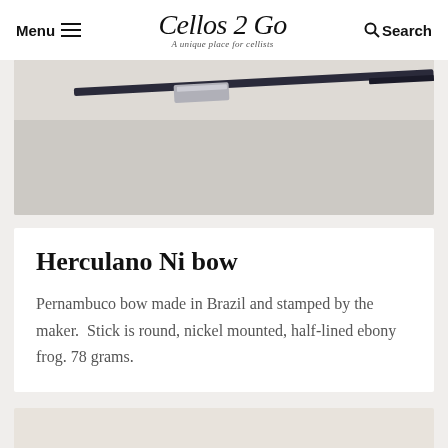Menu | Cellos 2 Go — A unique place for cellists | Search
[Figure (photo): Close-up photo of a cello bow (Herculano Ni bow), showing the stick and frog area against a light gray background.]
Herculano Ni bow
Pernambuco bow made in Brazil and stamped by the maker.  Stick is round, nickel mounted, half-lined ebony frog. 78 grams.
[Figure (photo): Partial view of another product image at the bottom of the page, cropped off.]